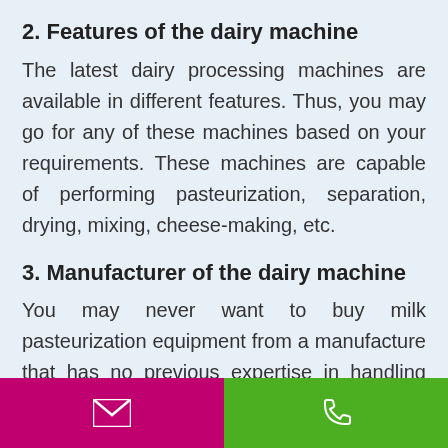2. Features of the dairy machine
The latest dairy processing machines are available in different features. Thus, you may go for any of these machines based on your requirements. These machines are capable of performing pasteurization, separation, drying, mixing, cheese-making, etc.
3. Manufacturer of the dairy machine
You may never want to buy milk pasteurization equipment from a manufacture that has no previous expertise in handling milk pasteurization machines. Thus it is
[Figure (infographic): Bottom navigation bar with two buttons: a pink/magenta email button on the left with a white envelope icon, and a green phone button on the right with a white phone icon.]